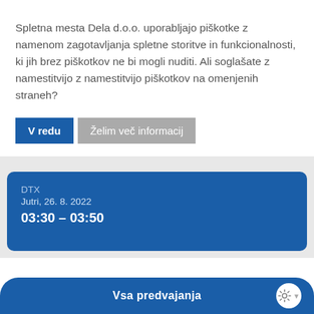Spletna mesta Dela d.o.o. uporabljajo piškotke z namenom zagotavljanja spletne storitve in funkcionalnosti, ki jih brez piškotkov ne bi mogli nuditi. Ali soglašate z namestitvijo z namestitvijo piškotkov na omenjenih straneh?
V redu
Želim več informacij
DTX
Jutri, 26. 8. 2022
03:30 – 03:50
Vsa predvajanja